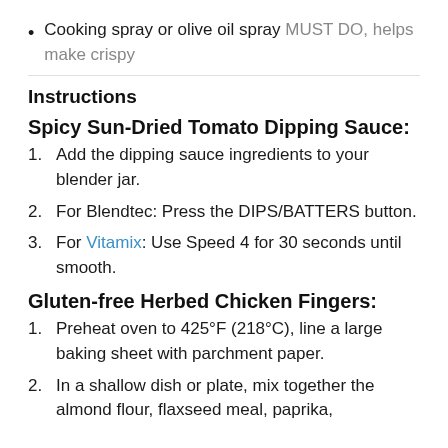Cooking spray or olive oil spray MUST DO, helps make crispy
Instructions
Spicy Sun-Dried Tomato Dipping Sauce:
1. Add the dipping sauce ingredients to your blender jar.
2. For Blendtec: Press the DIPS/BATTERS button.
3. For Vitamix: Use Speed 4 for 30 seconds until smooth.
Gluten-free Herbed Chicken Fingers:
1. Preheat oven to 425°F (218°C), line a large baking sheet with parchment paper.
2. In a shallow dish or plate, mix together the almond flour, flaxseed meal, paprika,